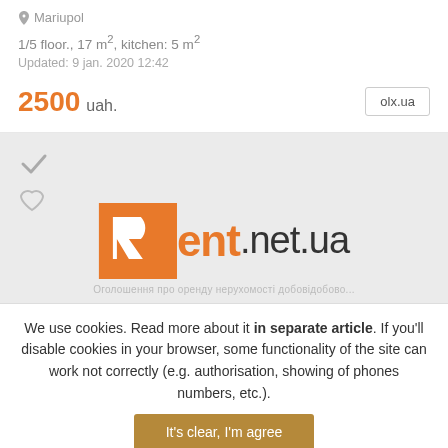Mariupol
1/5 floor., 17 m², kitchen: 5 m²
Updated: 9 jan. 2020 12:42
2500 uah.
olx.ua
[Figure (logo): Rent.net.ua logo on a light gray background with checkmark and heart icons]
We use cookies. Read more about it in separate article. If you'll disable cookies in your browser, some functionality of the site can work not correctly (e.g. authorisation, showing of phones numbers, etc.).
It's clear, I'm agree